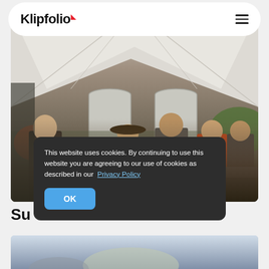Klipfolio
[Figure (photo): Group of people standing and socializing under a large white event tent. Several people in casual clothing, one wearing a cowboy hat. Tables with food service equipment visible in background. Outdoor event setting with trees visible through tent openings.]
Su
This website uses cookies. By continuing to use this website you are agreeing to our use of cookies as described in our Privacy Policy
[Figure (photo): Partial view of a second outdoor photo at bottom of page, showing sky and possibly outdoor structures.]